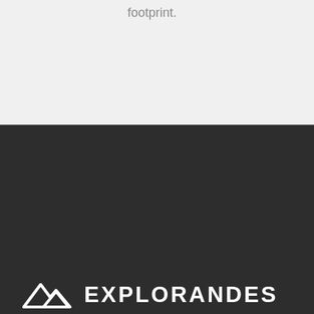footprint.
[Figure (logo): Explorandes mountain logo with two triangle peaks in white]
EXPLORANDES
In Explorandes we have a strong commitment to social development and environment preservation.
[Figure (logo): Three overlapping circular logos: green leaf, orange mountain/person, blue star - founders logos]
Founders
Asociación Peruana de Turismo de Aventura, Ecoturismo y Turismo Especializado